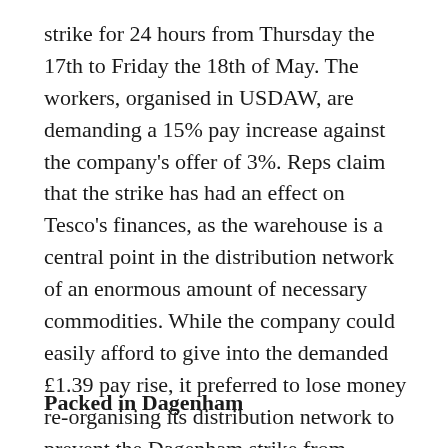strike for 24 hours from Thursday the 17th to Friday the 18th of May. The workers, organised in USDAW, are demanding a 15% pay increase against the company's offer of 3%. Reps claim that the strike has had an effect on Tesco's finances, as the warehouse is a central point in the distribution network of an enormous amount of necessary commodities. While the company could easily afford to give into the demanded £1.39 pay rise, it preferred to lose money re-organising its distribution network to prevent the Dagenham strike from becoming a beacon of struggle to its half a million employees. What is really at stake is the potential for a new movement in the modern centers of working class concentration.
Packed in Dagenham